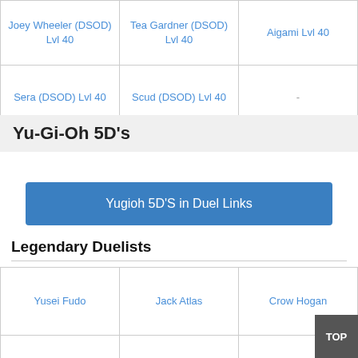| Joey Wheeler (DSOD) Lvl 40 | Tea Gardner (DSOD) Lvl 40 | Aigami Lvl 40 |
| Sera (DSOD) Lvl 40 | Scud (DSOD) Lvl 40 | - |
Yu-Gi-Oh 5D's
Yugioh 5D'S in Duel Links
Legendary Duelists
| Yusei Fudo | Jack Atlas | Crow Hogan |
| Akiza Izinski | Leo | Luna |